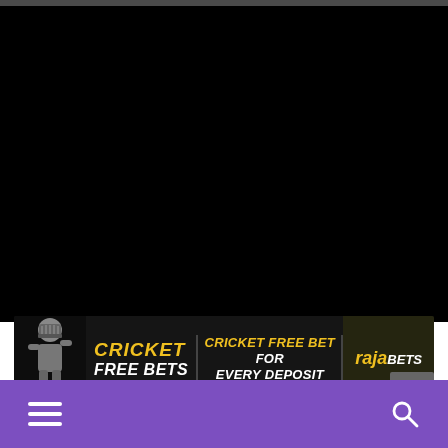[Figure (screenshot): Black video/media area taking up upper portion of the page]
[Figure (infographic): Advertisement banner for RajaBets cricket free bets. Shows a cricket player with helmet on the left, text 'CRICKET FREE BETS' in yellow/white italic, center text 'CRICKET FREE BET FOR EVERY DEPOSIT', and RajaBets logo on the right.]
[Figure (screenshot): Purple navigation bar at the bottom with hamburger menu icon on the left and search icon on the right]